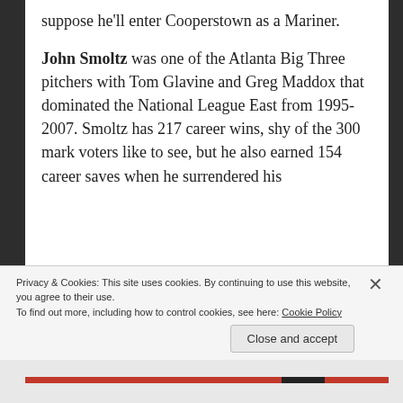suppose he'll enter Cooperstown as a Mariner.
John Smoltz was one of the Atlanta Big Three pitchers with Tom Glavine and Greg Maddox that dominated the National League East from 1995-2007. Smoltz has 217 career wins, shy of the 300 mark voters like to see, but he also earned 154 career saves when he surrendered his
Privacy & Cookies: This site uses cookies. By continuing to use this website, you agree to their use.
To find out more, including how to control cookies, see here: Cookie Policy
Close and accept